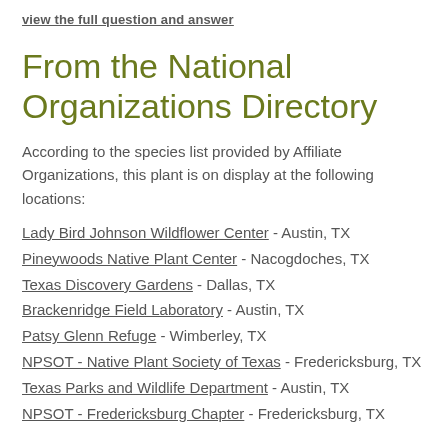view the full question and answer
From the National Organizations Directory
According to the species list provided by Affiliate Organizations, this plant is on display at the following locations:
Lady Bird Johnson Wildflower Center - Austin, TX
Pineywoods Native Plant Center - Nacogdoches, TX
Texas Discovery Gardens - Dallas, TX
Brackenridge Field Laboratory - Austin, TX
Patsy Glenn Refuge - Wimberley, TX
NPSOT - Native Plant Society of Texas - Fredericksburg, TX
Texas Parks and Wildlife Department - Austin, TX
NPSOT - Fredericksburg Chapter - Fredericksburg, TX